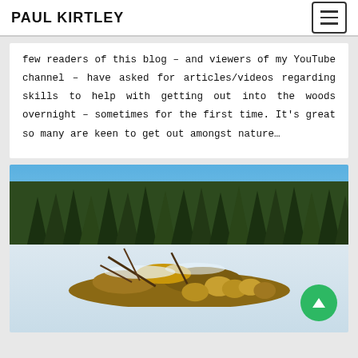PAUL KIRTLEY
few readers of this blog – and viewers of my YouTube channel – have asked for articles/videos regarding skills to help with getting out into the woods overnight – sometimes for the first time. It's great so many are keen to get out amongst nature…
[Figure (photo): Outdoor winter scene showing a pile of cut logs and woody debris in a snowy field, with a dense evergreen forest treeline in the background under a bright blue sky. A green circular back-to-top button with an upward arrow is visible in the bottom-right corner.]